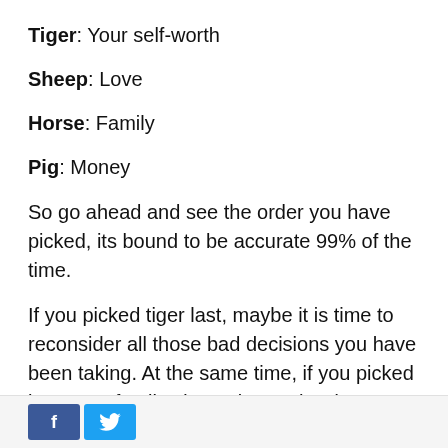Tiger: Your self-worth
Sheep: Love
Horse: Family
Pig: Money
So go ahead and see the order you have picked, its bound to be accurate 99% of the time.
If you picked tiger last, maybe it is time to reconsider all those bad decisions you have been taking. At the same time, if you picked love over family, do not be too hard on yourself.
Facebook and Twitter share buttons